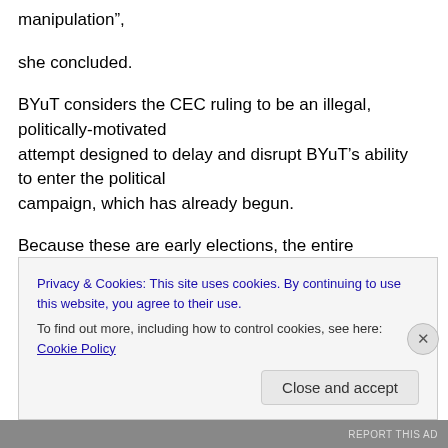manipulation”,
she concluded.
BYuT considers the CEC ruling to be an illegal, politically-motivated attempt designed to delay and disrupt BYuT’s ability to enter the political campaign, which has already begun.
Because these are early elections, the entire campaign is limited to
Privacy & Cookies: This site uses cookies. By continuing to use this website, you agree to their use.
To find out more, including how to control cookies, see here: Cookie Policy
Close and accept